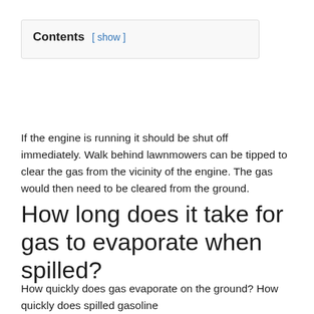| Contents | [show] |
If the engine is running it should be shut off immediately. Walk behind lawnmowers can be tipped to clear the gas from the vicinity of the engine. The gas would then need to be cleared from the ground.
How long does it take for gas to evaporate when spilled?
How quickly does gas evaporate on the ground? How quickly does spilled gasoline evaporate? It takes 1.5 hours until 90% of the